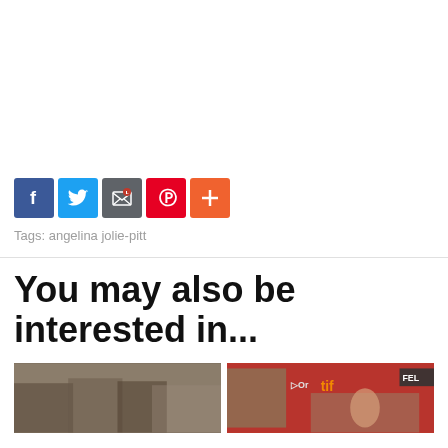[Figure (infographic): Social sharing buttons: Facebook (blue), Twitter (light blue), Email (gray), Pinterest (red), More/Plus (orange-red)]
Tags: angelina jolie-pitt
You may also be interested in...
[Figure (photo): Two thumbnail photos side by side: left shows a group of people at an event, right shows a woman with sunglasses at what appears to be a TIFF (Toronto International Film Festival) event with red backdrop]